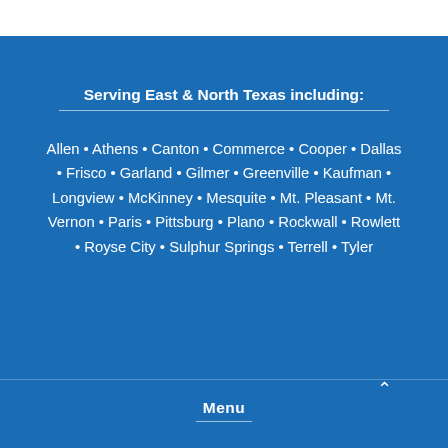Serving East & North Texas including:
Allen • Athens • Canton • Commerce • Cooper • Dallas • Frisco • Garland • Gilmer • Greenville • Kaufman • Longview • McKinney • Mesquite • Mt. Pleasant • Mt. Vernon • Paris • Pittsburg • Plano • Rockwall • Rowlett • Royse City • Sulphur Springs • Terrell • Tyler
Menu